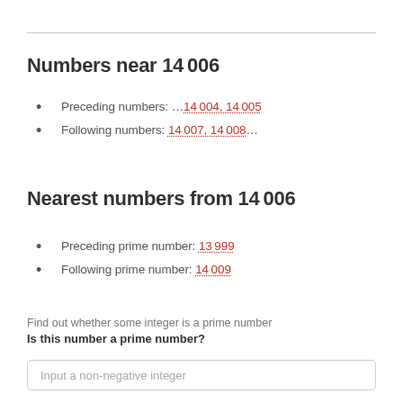Numbers near 14 006
Preceding numbers: …14 004, 14 005
Following numbers: 14 007, 14 008…
Nearest numbers from 14 006
Preceding prime number: 13 999
Following prime number: 14 009
Find out whether some integer is a prime number
Is this number a prime number?
Input a non-negative integer